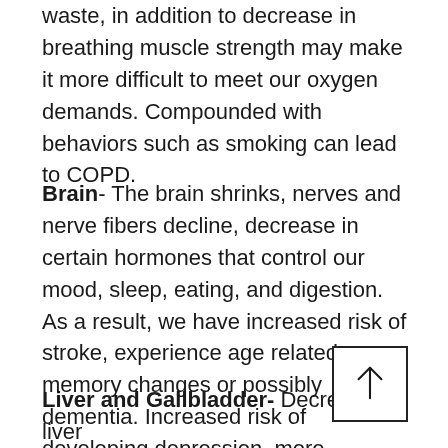waste, in addition to decrease in breathing muscle strength may make it more difficult to meet our oxygen demands. Compounded with behaviors such as smoking can lead to COPD.
Brain- The brain shrinks, nerves and nerve fibers decline, decrease in certain hormones that control our mood, sleep, eating, and digestion. As a result, we have increased risk of stroke, experience age related memory changes or possibly dementia. Increased risk of developing depression, more sensitive to medications such as pain medications, anesthesia.
Liver and Gallbladder- Decrease in liver